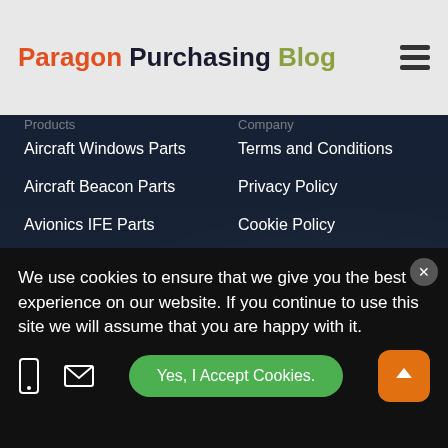Paragon Purchasing Blog
Aircraft Windows Parts
Aircraft Beacon Parts
Avionics IFE Parts
Airport Lighting Parts
Featured Products
Terms and Conditions
Privacy Policy
Cookie Policy
Consignment Options
Sitemap
XML
We Accept
[Figure (logo): Payment method logos: VISA, MasterCard, Discover Network, American Express]
Follow Us
We use cookies to ensure that we give you the best experience on our website. If you continue to use this site we will assume that you are happy with it.
Yes, I Accept Cookies.